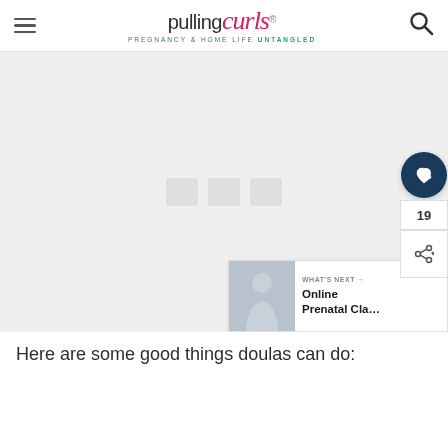pulling curls — PREGNANCY & HOME LIFE UNTANGLED
[Figure (photo): Main article image placeholder — light gray background with faint icons, showing a blog post image area from Pulling Curls website]
Here are some good things doulas can do: